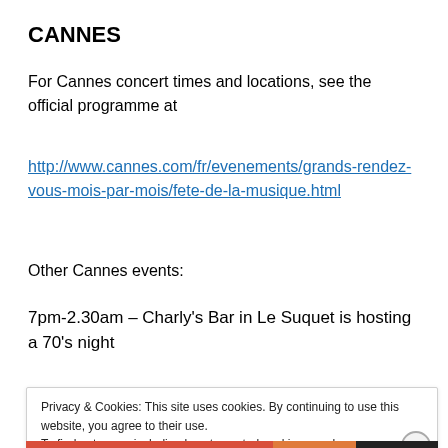CANNES
For Cannes concert times and locations, see the official programme at
http://www.cannes.com/fr/evenements/grands-rendez-vous-mois-par-mois/fete-de-la-musique.html
Other Cannes events:
7pm-2.30am – Charly's Bar in Le Suquet is hosting a 70's night
Privacy & Cookies: This site uses cookies. By continuing to use this website, you agree to their use.
To find out more, including how to control cookies, see here: Cookie Policy
Close and accept